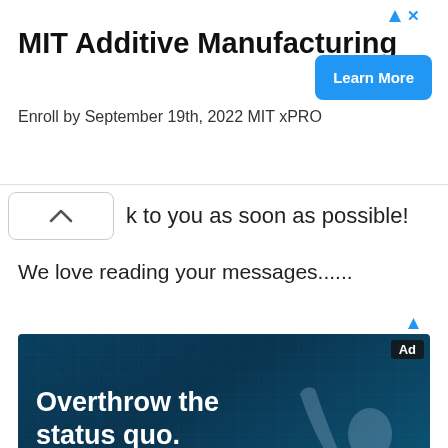[Figure (screenshot): MIT Additive Manufacturing advertisement banner with 'Learn More' button and enrollment deadline September 19th, 2022 MIT xPRO]
k to you as soon as possible!
We love reading your messages......
[Figure (screenshot): Advertisement banner with dark teal digital background showing text 'Overthrow the status quo. The old ways of managing sensitive data don't work.' with silhouette of person raising fist]